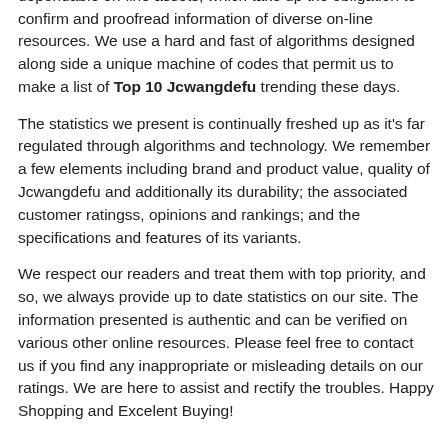information is regulated with the aid of Artificial Intelligence - dependable on-line assets, which take up the obligation to confirm and proofread information of diverse on-line resources. We use a hard and fast of algorithms designed along side a unique machine of codes that permit us to make a list of Top 10 Jcwangdefu trending these days.
The statistics we present is continually freshed up as it's far regulated through algorithms and technology. We remember a few elements including brand and product value, quality of Jcwangdefu and additionally its durability; the associated customer ratingss, opinions and rankings; and the specifications and features of its variants.
We respect our readers and treat them with top priority, and so, we always provide up to date statistics on our site. The information presented is authentic and can be verified on various other online resources. Please feel free to contact us if you find any inappropriate or misleading details on our ratings. We are here to assist and rectify the troubles. Happy Shopping and Excelent Buying!